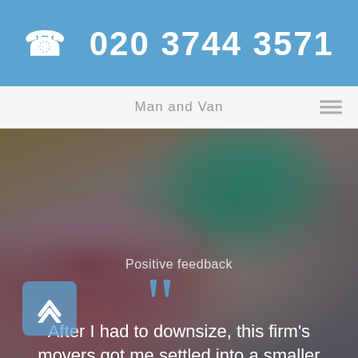☎ 020 3744 3571
Man and Van
[Figure (photo): Two people (a man in plaid shirt holding a moving box and a woman in teal top holding a plant) sitting in a living room, partially darkened with blue overlay]
Positive feedback
After I had to downsize, this firm's movers got me settled into a smaller place in no time. Thanks!